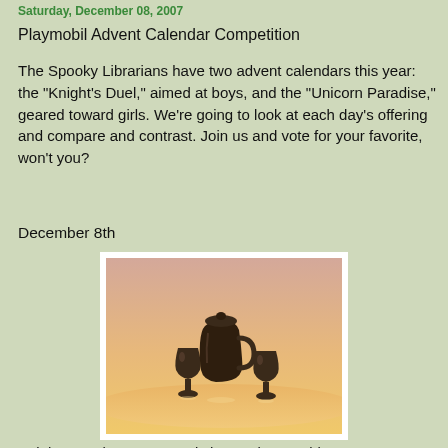Saturday, December 08, 2007
Playmobil Advent Calendar Competition
The Spooky Librarians have two advent calendars this year: the "Knight's Duel," aimed at boys, and the "Unicorn Paradise," geared toward girls. We're going to look at each day's offering and compare and contrast. Join us and vote for your favorite, won't you?
December 8th
[Figure (photo): Three dark brown/pewter colored Playmobil toy items on a warm-lit surface: two goblets flanking a pitcher/jug in the center, photographed against a pinkish-beige background.]
Knight's Duel: a "pewter" pitcher and two goblets.